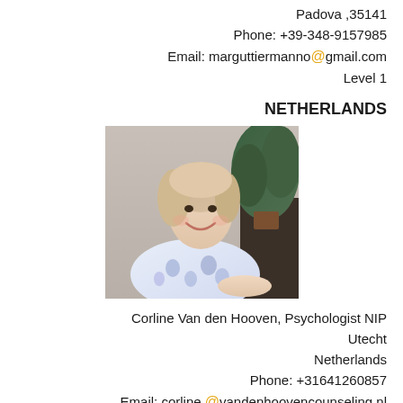Padova ,35141
Phone: +39-348-9157985
Email: marguttiermanno@gmail.com
Level 1
NETHERLANDS
[Figure (photo): Photo of Corline Van den Hooven, a woman with light hair, smiling, wearing a blue and white floral patterned top, with a plant visible in the background.]
Corline Van den Hooven, Psychologist NIP
Utecht
Netherlands
Phone: +31641260857
Email: corline@vandenhoovencounseling.nl